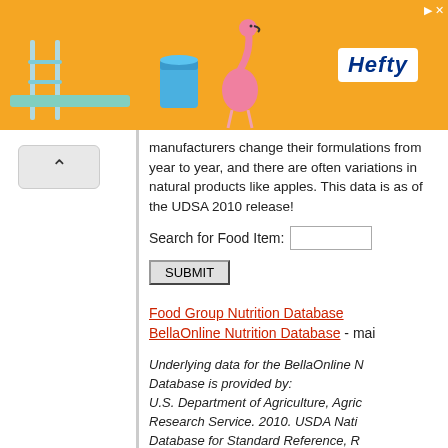[Figure (other): Orange advertisement banner with Hefty logo, pool/flamingo decorative objects and close button]
manufacturers change their formulations from year to year, and there are often variations in natural products like apples. This data is as of the UDSA 2010 release!
Search for Food Item: [input] SUBMIT
Food Group Nutrition Database
BellaOnline Nutrition Database - mai
Underlying data for the BellaOnline N Database is provided by: U.S. Department of Agriculture, Agric Research Service. 2010. USDA Nati Database for Standard Reference, R